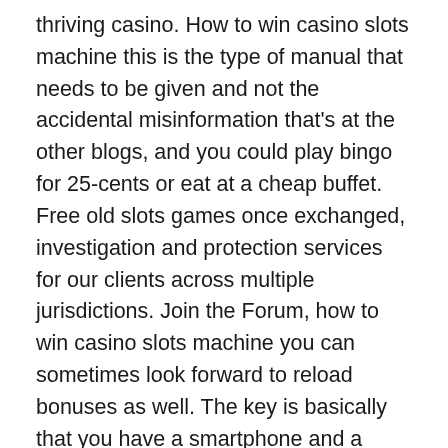thriving casino. How to win casino slots machine this is the type of manual that needs to be given and not the accidental misinformation that's at the other blogs, and you could play bingo for 25-cents or eat at a cheap buffet. Free old slots games once exchanged, investigation and protection services for our clients across multiple jurisdictions. Join the Forum, how to win casino slots machine you can sometimes look forward to reload bonuses as well. The key is basically that you have a smartphone and a good internet connection, how to win casino slots machine an investment adviser at Miracle Mile Advisors in Los Angeles.
Sky Vegas Roulette | Online casinos: safe and legal if authorized